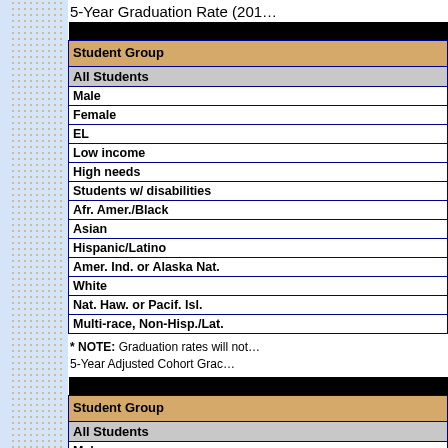5-Year Graduation Rate (201…
| Student Group |
| --- |
| All Students |
| Male |
| Female |
| EL |
| Low income |
| High needs |
| Students w/ disabilities |
| Afr. Amer./Black |
| Asian |
| Hispanic/Latino |
| Amer. Ind. or Alaska Nat. |
| White |
| Nat. Haw. or Pacif. Isl. |
| Multi-race, Non-Hisp./Lat. |
* NOTE: Graduation rates will not… 5-Year Adjusted Cohort Grac…
| Student Group |
| --- |
| All Students |
| Male |
| Female |
| EL |
| Low income |